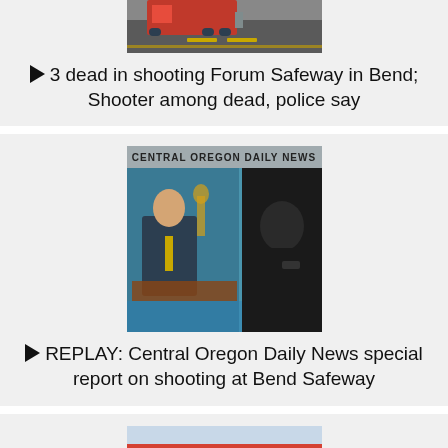[Figure (photo): Partial thumbnail of a fire truck on a road, cropped at top]
▶ 3 dead in shooting Forum Safeway in Bend; Shooter among dead, police say
[Figure (screenshot): Central Oregon Daily News broadcast thumbnail showing anchor at desk with split screen]
▶ REPLAY: Central Oregon Daily News special report on shooting at Bend Safeway
[Figure (photo): Partial thumbnail of a building exterior, cropped at bottom]